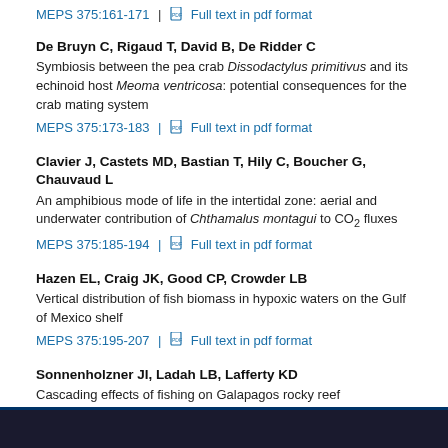MEPS 375:161-171 | Full text in pdf format
De Bruyn C, Rigaud T, David B, De Ridder C
Symbiosis between the pea crab Dissodactylus primitivus and its echinoid host Meoma ventricosa: potential consequences for the crab mating system
MEPS 375:173-183 | Full text in pdf format
Clavier J, Castets MD, Bastian T, Hily C, Boucher G, Chauvaud L
An amphibious mode of life in the intertidal zone: aerial and underwater contribution of Chthamalus montagui to CO2 fluxes
MEPS 375:185-194 | Full text in pdf format
Hazen EL, Craig JK, Good CP, Crowder LB
Vertical distribution of fish biomass in hypoxic waters on the Gulf of Mexico shelf
MEPS 375:195-207 | Full text in pdf format
Sonnenholzner JI, Ladah LB, Lafferty KD
Cascading effects of fishing on Galapagos rocky reef communities: reanalysis using corrected data